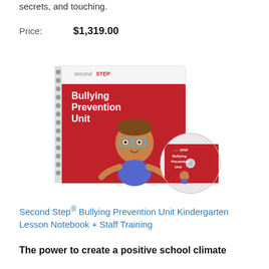secrets, and touching.
Price:   $1,319.00
[Figure (photo): Second Step Bullying Prevention Unit spiral-bound notebook with red cover showing a cartoon boy character with glasses, and a CD disc beside it also branded Second Step Bullying Prevention Unit Kindergarten Lessons.]
Second Step® Bullying Prevention Unit Kindergarten Lesson Notebook + Staff Training
The power to create a positive school climate